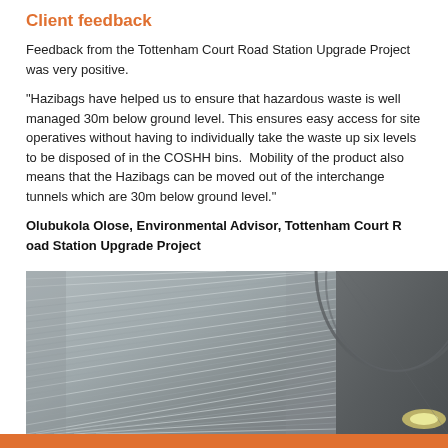Client feedback
Feedback from the Tottenham Court Road Station Upgrade Project was very positive.
“Hazibags have helped us to ensure that hazardous waste is well managed 30m below ground level. This ensures easy access for site operatives without having to individually take the waste up six levels to be disposed of in the COSHH bins.  Mobility of the product also means that the Hazibags can be moved out of the interchange tunnels which are 30m below ground level.”
Olubukola Olose, Environmental Advisor, Tottenham Court Road Station Upgrade Project
[Figure (photo): Photograph of tunnel interior showing corrugated metal tunnel walls with ridged pattern, and a curved tunnel element on the right with a light visible.]